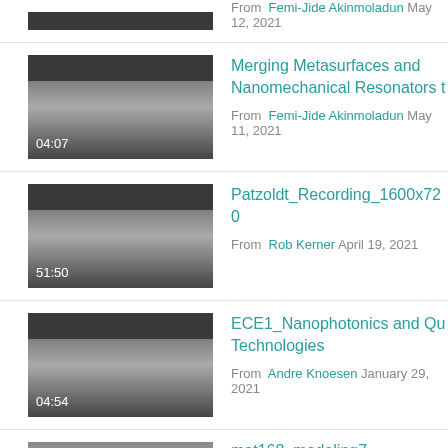[Figure (screenshot): Video thumbnail (partial, top cropped) with metadata: From Femi-Jide Akinmoladun May 12, 2021]
From Femi-Jide Akinmoladun May 12, 2021
[Figure (screenshot): Video thumbnail with duration 04:07]
Merging Metasurfaces and Nanomechanical Resonators t
From Femi-Jide Akinmoladun May 11, 2021
[Figure (screenshot): Video thumbnail with duration 51:50]
Patzoldt_Recording_1600x720
From Rob Kerner April 19, 2021
[Figure (screenshot): Video thumbnail with duration 04:54]
ECE1_Nanophotonics and Qu Technologies
From Andre Knoesen January 29, 2021
[Figure (screenshot): Video thumbnail (partial, bottom cropped)]
mat168_modeling7